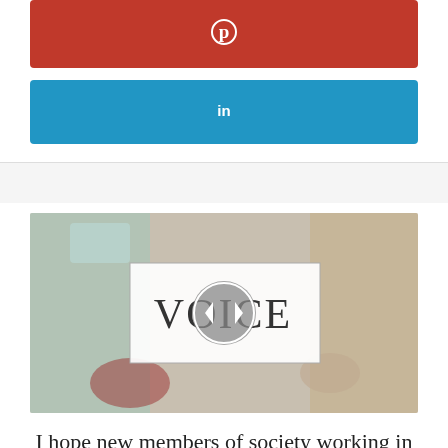[Figure (other): Pinterest share button - red rounded rectangle with Pinterest 'p' icon in white]
[Figure (other): LinkedIn share button - blue rounded rectangle with LinkedIn 'in' icon in white]
[Figure (other): Video thumbnail showing blurred background with 'VOICE' text and play button overlay in center]
I hope new members of society working in new environments read this book, "I decided not to do my best." | GetNavi